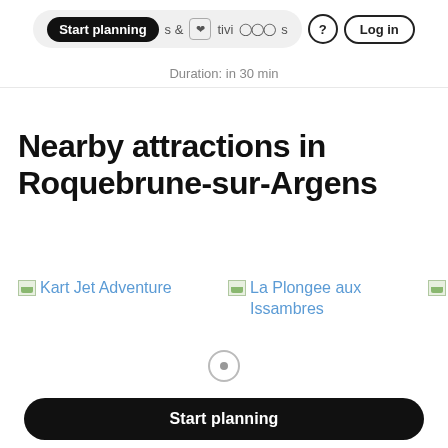Start planning  & activities  ?  Log in
Duration: in 30 min
Nearby attractions in Roquebrune-sur-Argens
Kart Jet Adventure
La Plongee aux Issambres
Start planning